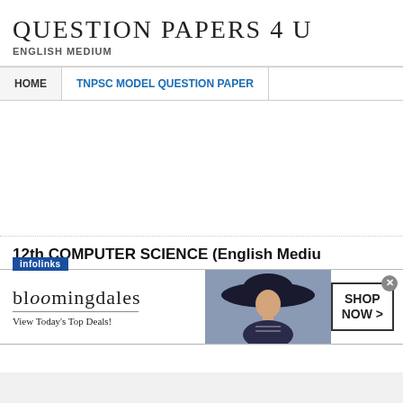QUESTION PAPERS 4 U
ENGLISH MEDIUM
HOME | TNPSC MODEL QUESTION PAPER
12th COMPUTER SCIENCE (English Medium
[Figure (screenshot): Bloomingdale's advertisement banner with text 'bloomingdales', 'View Today's Top Deals!', a woman wearing a wide-brim hat, and a 'SHOP NOW >' button]